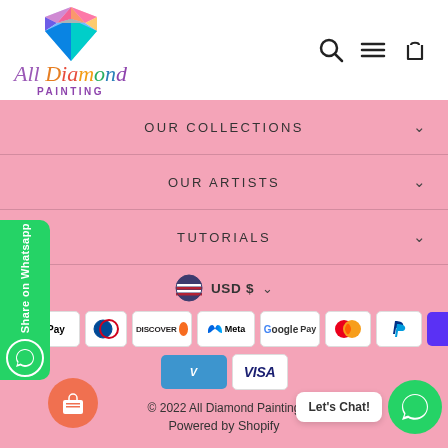[Figure (logo): All Diamond Painting logo with colorful diamond gem and stylized text]
[Figure (illustration): Navigation icons: search magnifying glass, hamburger menu, shopping bag]
OUR COLLECTIONS
OUR ARTISTS
TUTORIALS
USD $
[Figure (illustration): Payment method badges: Amex, Apple Pay, Diners Club, Discover, Meta Pay, Google Pay, Mastercard, PayPal, ShopPay, Venmo, Visa]
© 2022 All Diamond Painting
Powered by Shopify
[Figure (illustration): WhatsApp Share on Whatsapp side tab with phone icon]
[Figure (illustration): Let's Chat button and WhatsApp green circle icon]
[Figure (illustration): Orange circular chat/cake icon button bottom left]